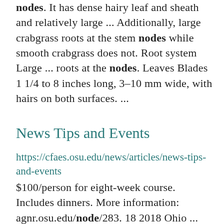nodes. It has dense hairy leaf and sheath and relatively large ... Additionally, large crabgrass roots at the stem nodes while smooth crabgrass does not. Root system Large ... roots at the nodes. Leaves Blades 1 1/4 to 8 inches long, 3-10 mm wide, with hairs on both surfaces. ...
News Tips and Events
https://cfaes.osu.edu/news/articles/news-tips-and-events
$100/person for eight-week course. Includes dinners. More information: agnr.osu.edu/node/283. 18 2018 Ohio ... eight-week course. Includes dinners. More